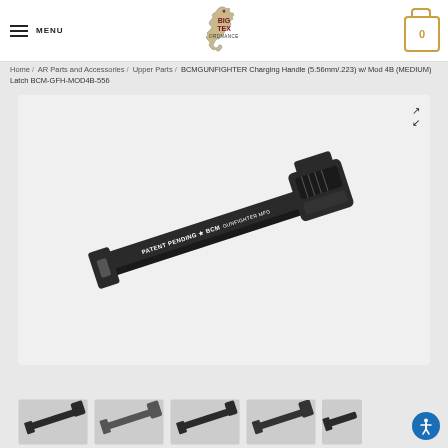MENU | Big Tex Ordnance | Cart 0
Home / AR Parts and Accessories / Upper Parts / BCMGUNFIGHTER Charging Handle (5.56mm/.223) w/ Mod 4B (MEDIUM) Latch BCM-GFH-MOD4B-556
[Figure (photo): Black BCM GUNFIGHTER charging handle for AR-15/M16, 5.56mm/.223, with Mod 4B Medium latch. The handle has 'PATENT PENDING * BCM GUNFIGHTER MFG' text along the body. Shown at a diagonal angle against a light gray background.]
[Figure (photo): Thumbnail images of the BCM charging handle from various angles shown at the bottom of the page.]